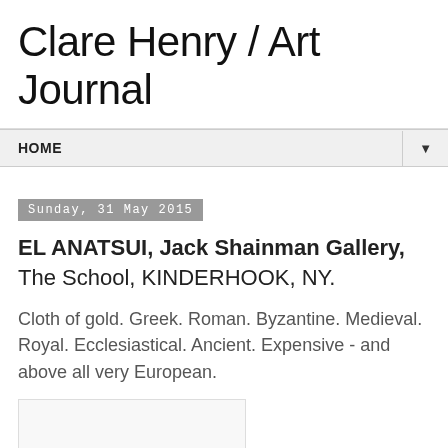Clare Henry / Art Journal
HOME
Sunday, 31 May 2015
EL ANATSUI, Jack Shainman Gallery, The School, KINDERHOOK, NY.
Cloth of gold. Greek. Roman. Byzantine. Medieval. Royal. Ecclesiastical. Ancient. Expensive - and above all very European.
[Figure (photo): Blank/white image placeholder area]